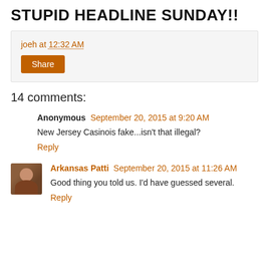STUPID HEADLINE SUNDAY!!
joeh at 12:32 AM
Share
14 comments:
Anonymous September 20, 2015 at 9:20 AM
New Jersey Casinois fake...isn't that illegal?
Reply
Arkansas Patti September 20, 2015 at 11:26 AM
Good thing you told us. I'd have guessed several.
Reply